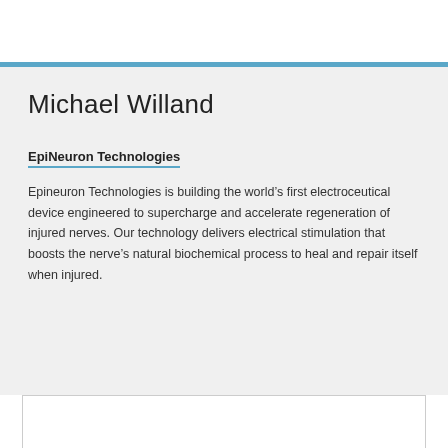Michael Willand
EpiNeuron Technologies
Epineuron Technologies is building the world's first electroceutical device engineered to supercharge and accelerate regeneration of injured nerves. Our technology delivers electrical stimulation that boosts the nerve's natural biochemical process to heal and repair itself when injured.